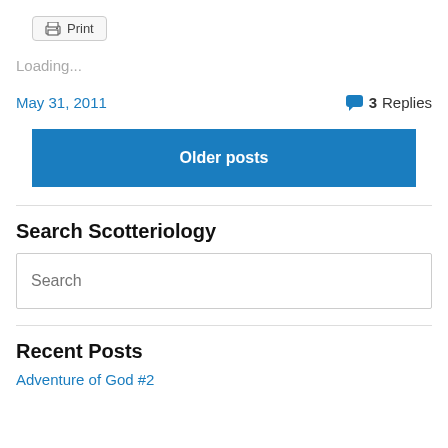Print
Loading...
May 31, 2011
3 Replies
Older posts
Search Scotteriology
Search
Recent Posts
Adventure of God #2